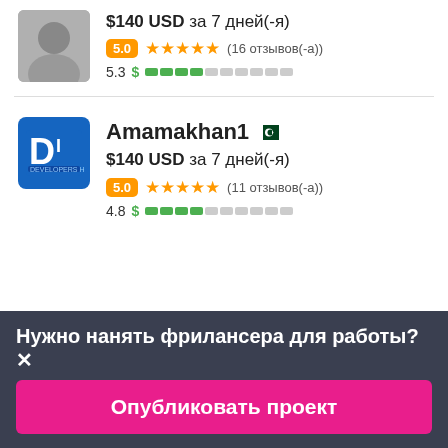$140 USD за 7 дней(-я)
5.0 ★★★★★ (16 отзывов(-а))
5.3 $ ████░░░░░░
Amamakhan1
$140 USD за 7 дней(-я)
5.0 ★★★★★ (11 отзывов(-а))
4.8 $ ████░░░░░░
Нужно нанять фрилансера для работы?✕
Опубликовать проект